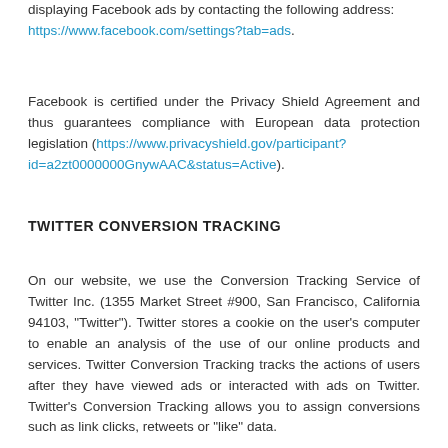displaying Facebook ads by contacting the following address: https://www.facebook.com/settings?tab=ads.
Facebook is certified under the Privacy Shield Agreement and thus guarantees compliance with European data protection legislation (https://www.privacyshield.gov/participant?id=a2zt0000000GnywAAC&status=Active).
TWITTER CONVERSION TRACKING
On our website, we use the Conversion Tracking Service of Twitter Inc. (1355 Market Street #900, San Francisco, California 94103, "Twitter"). Twitter stores a cookie on the user's computer to enable an analysis of the use of our online products and services. Twitter Conversion Tracking tracks the actions of users after they have viewed ads or interacted with ads on Twitter. Twitter's Conversion Tracking allows you to assign conversions such as link clicks, retweets or "like" data.